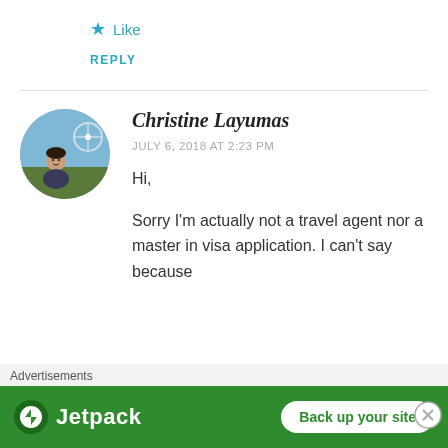★ Like
REPLY
[Figure (photo): Circular avatar photo of Christine Layumas at a theme park]
Christine Layumas
JULY 6, 2018 AT 2:23 PM
Hi,
Sorry I'm actually not a travel agent nor a master in visa application. I can't say because
Advertisements
[Figure (screenshot): Jetpack advertisement banner with 'Back up your site' button on green background]